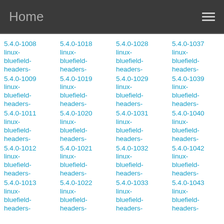Home
5.4.0-1008 linux-bluefield-headers-
5.4.0-1009 linux-bluefield-headers-
5.4.0-1011 linux-bluefield-headers-
5.4.0-1012 linux-bluefield-headers-
5.4.0-1013 linux-bluefield-headers-
5.4.0-1018 linux-bluefield-headers-
5.4.0-1019 linux-bluefield-headers-
5.4.0-1020 linux-bluefield-headers-
5.4.0-1021 linux-bluefield-headers-
5.4.0-1022 linux-bluefield-headers-
5.4.0-1028 linux-bluefield-headers-
5.4.0-1029 linux-bluefield-headers-
5.4.0-1031 linux-bluefield-headers-
5.4.0-1032 linux-bluefield-headers-
5.4.0-1033 linux-bluefield-headers-
5.4.0-1037 linux-bluefield-headers-
5.4.0-1039 linux-bluefield-headers-
5.4.0-1040 linux-bluefield-headers-
5.4.0-1042 linux-bluefield-headers-
5.4.0-1043 linux-bluefield-headers-